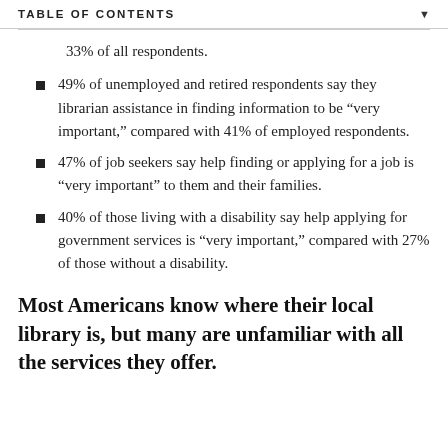TABLE OF CONTENTS
33% of all respondents.
49% of unemployed and retired respondents say they librarian assistance in finding information to be “very important,” compared with 41% of employed respondents.
47% of job seekers say help finding or applying for a job is “very important” to them and their families.
40% of those living with a disability say help applying for government services is “very important,” compared with 27% of those without a disability.
Most Americans know where their local library is, but many are unfamiliar with all the services they offer.